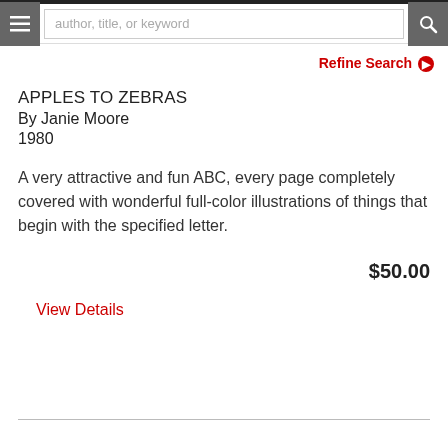author, title, or keyword
Refine Search ❯
APPLES TO ZEBRAS
By Janie Moore
1980
A very attractive and fun ABC, every page completely covered with wonderful full-color illustrations of things that begin with the specified letter.
$50.00
View Details